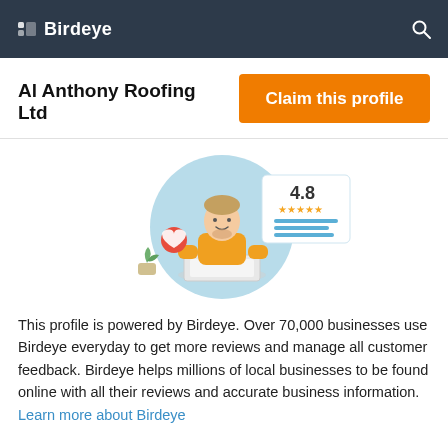Birdeye
Al Anthony Roofing Ltd
Claim this profile
[Figure (illustration): Illustration of a person sitting at a laptop with a large rating display showing 4.8 stars, a heart icon, and a review panel in the background on a light blue circle.]
This profile is powered by Birdeye. Over 70,000 businesses use Birdeye everyday to get more reviews and manage all customer feedback. Birdeye helps millions of local businesses to be found online with all their reviews and accurate business information. Learn more about Birdeye